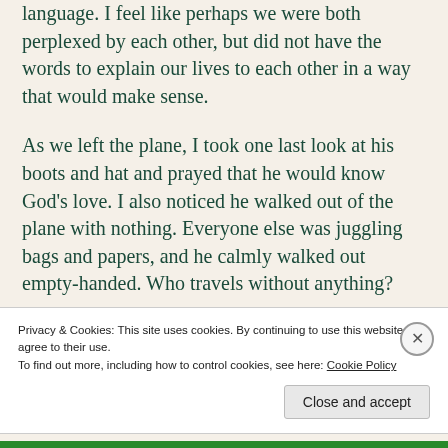language. I feel like perhaps we were both perplexed by each other, but did not have the words to explain our lives to each other in a way that would make sense.
As we left the plane, I took one last look at his boots and hat and prayed that he would know God's love. I also noticed he walked out of the plane with nothing. Everyone else was juggling bags and papers, and he calmly walked out empty-handed. Who travels without anything?
Privacy & Cookies: This site uses cookies. By continuing to use this website, you agree to their use.
To find out more, including how to control cookies, see here: Cookie Policy